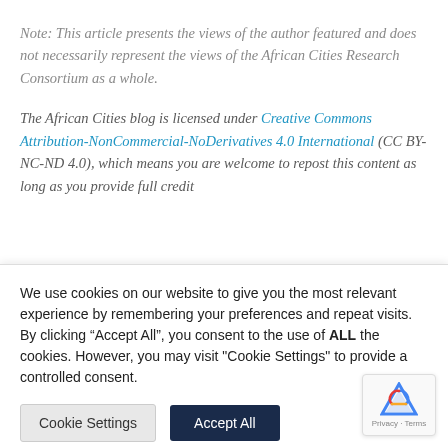Note: This article presents the views of the author featured and does not necessarily represent the views of the African Cities Research Consortium as a whole.
The African Cities blog is licensed under Creative Commons Attribution-NonCommercial-NoDerivatives 4.0 International (CC BY-NC-ND 4.0), which means you are welcome to repost this content as long as you provide full credit
We use cookies on our website to give you the most relevant experience by remembering your preferences and repeat visits. By clicking “Accept All”, you consent to the use of ALL the cookies. However, you may visit "Cookie Settings" to provide a controlled consent.